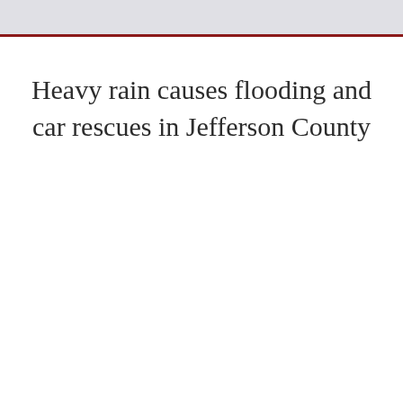Heavy rain causes flooding and car rescues in Jefferson County